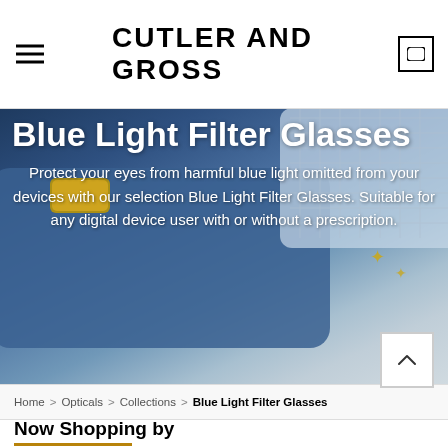CUTLER AND GROSS
[Figure (photo): Close-up photo of blue and gold eyeglass frames, used as hero background image for Blue Light Filter Glasses product category page]
Blue Light Filter Glasses
Protect your eyes from harmful blue light omitted from your devices with our selection Blue Light Filter Glasses. Suitable for any digital device user with or without a prescription.
Home > Opticals > Collections > Blue Light Filter Glasses
Now Shopping by